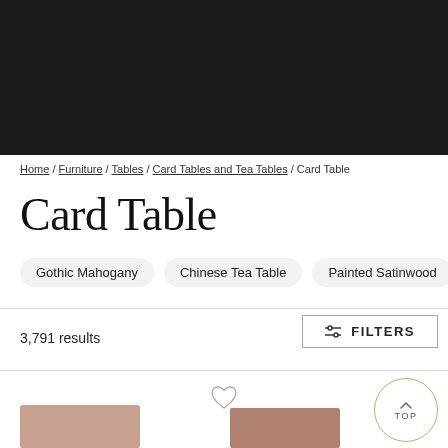[Figure (photo): Dark banner image at top of page]
Home / Furniture / Tables / Card Tables and Tea Tables / Card Table
Card Table
Gothic Mahogany
Chinese Tea Table
Painted Satinwood
3,791 results
FILTERS
[Figure (photo): Heart/favorite icon]
[Figure (other): TOP scroll-to-top circular button]
[Figure (photo): Partial product thumbnail images at bottom]